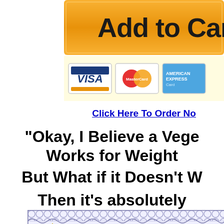[Figure (screenshot): Add to Cart orange button, partially visible]
[Figure (screenshot): Payment logos: VISA, MasterCard, American Express on yellow background]
Click Here To Order No[w]
“Okay, I Believe a Vege[tarian Diet] Works for Weight[loss...]
But What if it Doesn’t W[ork for Me?]
Then it’s absolutely[...]
[Figure (screenshot): 100% No-[Risk Guarantee] certificate border partially visible]